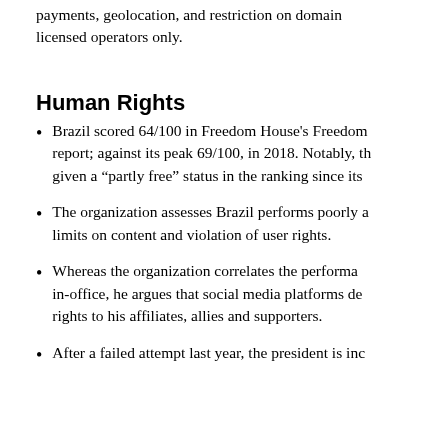payments, geolocation, and restriction on domain licensed operators only.
Human Rights
Brazil scored 64/100 in Freedom House's Freedom report; against its peak 69/100, in 2018. Notably, th given a “partly free” status in the ranking since its
The organization assesses Brazil performs poorly a limits on content and violation of user rights.
Whereas the organization correlates the performa in-office, he argues that social media platforms de rights to his affiliates, allies and supporters.
After a failed attempt last year, the president is inc